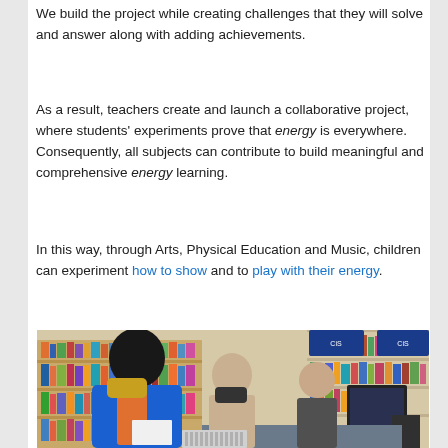We build the project while creating challenges that they will solve and answer along with adding achievements.
As a result, teachers create and launch a collaborative project, where students' experiments prove that energy is everywhere. Consequently, all subjects can contribute to build meaningful and comprehensive energy learning.
In this way, through Arts, Physical Education and Music, children can experiment how to show and to play with their energy.
[Figure (photo): Children wearing masks in a school library or classroom, reading and looking at papers. Bookshelves visible in the background with colorful books.]